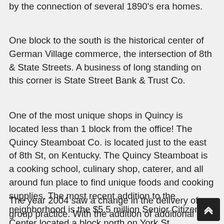by the connection of several 1890's era homes.
One block to the south is the historical center of German Village commerce, the intersection of 8th & State Streets. A business of long standing on this corner is State Street Bank & Trust Co.
One of the most unique shops in Quincy is located less than 1 block from the office! The Quincy Steamboat Co. is located just to the east of 8th St, on Kentucky. The Quincy Steamboat is a cooking school, culinary shop, caterer, and all around fun place to find unique foods and cooking supplies. The most recent addition to the neighborhood is the $5.5 million Senior Citizen Center located a block north on York St.
The year 2004 saw a change in the delivery of group practice. With the addition of additional dentists the Professional Corporation evolved into Cornerstone Dental Health. The practice name changed to fully reflect